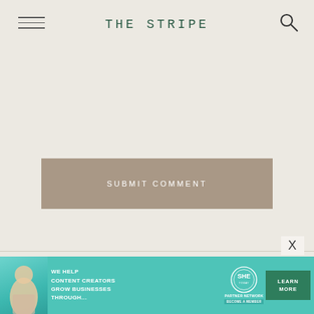THE STRIPE
SUBMIT COMMENT
72 Comments
[Figure (infographic): Advertisement banner: WE HELP CONTENT CREATORS GROW BUSINESSES THROUGH... SHE PARTNER NETWORK BECOME A MEMBER. LEARN MORE button.]